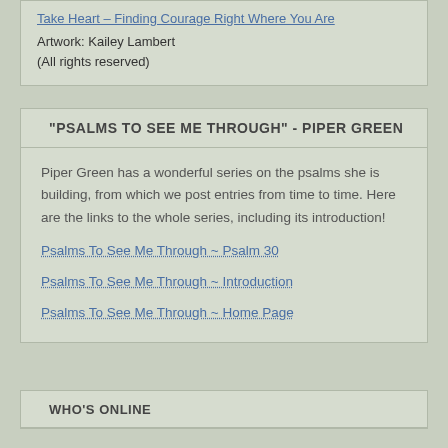Take Heart – Finding Courage Right Where You Are
Artwork: Kailey Lambert
(All rights reserved)
“PSALMS TO SEE ME THROUGH” - PIPER GREEN
Piper Green has a wonderful series on the psalms she is building, from which we post entries from time to time. Here are the links to the whole series, including its introduction!
Psalms To See Me Through ~ Psalm 30
Psalms To See Me Through ~ Introduction
Psalms To See Me Through ~ Home Page
WHO'S ONLINE